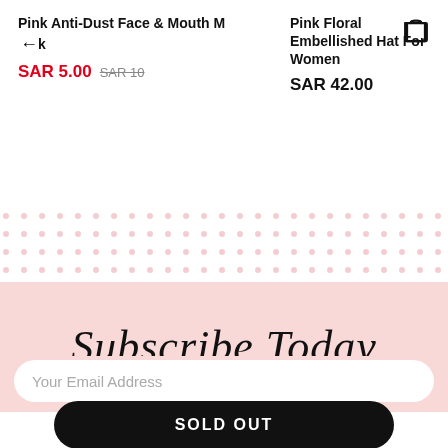Pink Anti-Dust Face & Mouth Mask
SAR 5.00  SAR 10
Pink Floral Embellished Hat For Women
SAR 42.00
[Figure (illustration): Shopping cart / bag icon outline, top right corner]
[Figure (illustration): Decorative pink dot pattern background divider]
Subscribe Today
Your Email Address
SOLD OUT